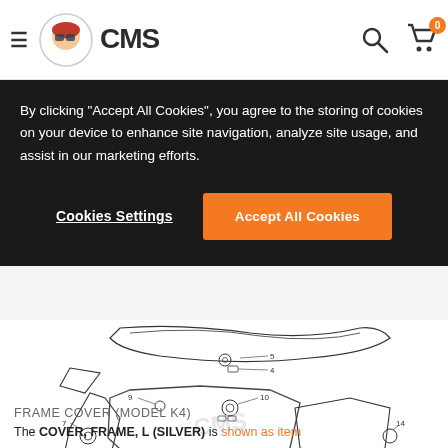CMS — navigation bar with hamburger menu, CMS logo, search icon, cart icon with badge 0
By clicking "Accept All Cookies", you agree to the storing of cookies on your device to enhance site navigation, analyze site usage, and assist in our marketing efforts.
Cookies Settings | Accept All Cookies
[Figure (engineering-diagram): Exploded parts diagram of a motorcycle frame cover (Model K4) showing numbered components including seat, frame covers, and fasteners with item numbers 4, 5, 7, 9, 10, 12, 13, 14, 20 and CMS watermark]
FRAME COVER (MODEL K4)
The COVER, FRAME, L (SILVER) is shown as item on the